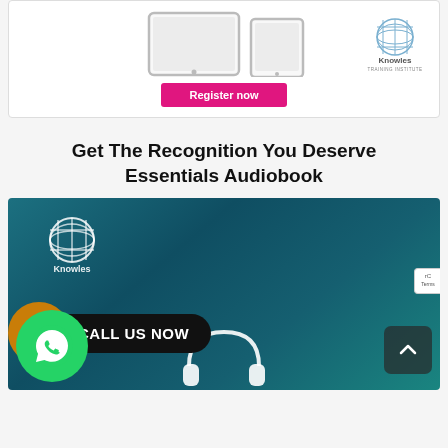[Figure (illustration): Top card with device illustration (tablet and e-reader), a pink 'Register now' button, and Knowles Training Institute globe logo]
Get The Recognition You Deserve Essentials Audiobook
[Figure (illustration): Dark teal audiobook promotional section with Knowles globe logo, 'CALL US NOW' WhatsApp banner, green WhatsApp icon, headphones illustration, back-to-top button, and partial reCAPTCHA badge]